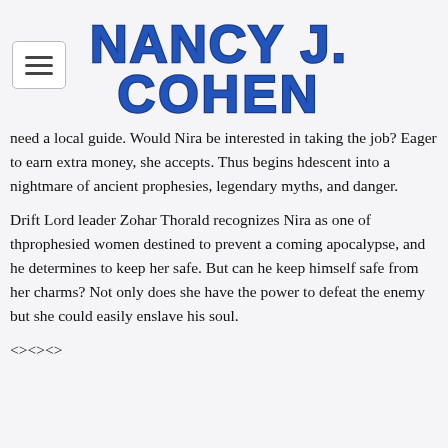[Figure (logo): Nancy J. Cohen author logo in bold blue serif font with dark outline]
need a local guide. Would Nira be interested in taking the job? Eager to earn extra money, she accepts. Thus begins her descent into a nightmare of ancient prophesies, legendary myths, and danger.
Drift Lord leader Zohar Thorald recognizes Nira as one of the prophesied women destined to prevent a coming apocalypse, and he determines to keep her safe. But can he keep himself safe from her charms? Not only does she have the power to defeat the enemy but she could easily enslave his soul.
<><><>